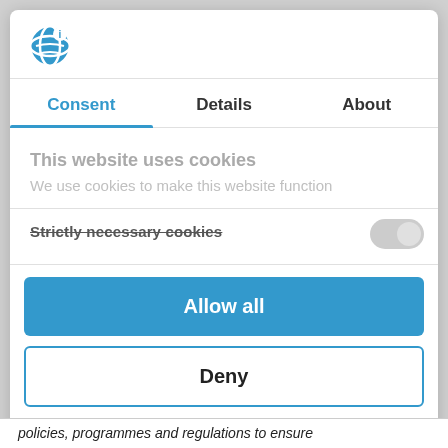[Figure (logo): Cookiebot/Usercentrics globe logo icon in blue]
Consent | Details | About (tab navigation, Consent active)
This website uses cookies
We use cookies to make this website function
Strictly necessary cookies
Allow all
Deny
Powered by Cookiebot by Usercentrics
policies, programmes and regulations to ensure